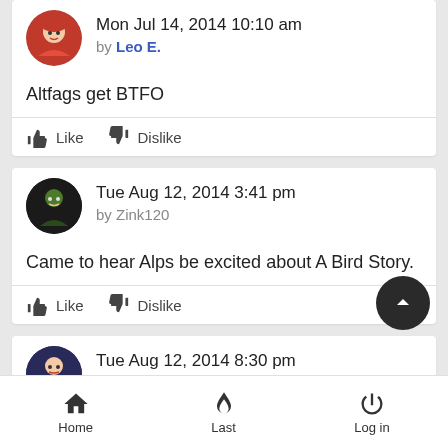[Figure (screenshot): Forum/comment section screenshot showing three user comments with avatars, timestamps, usernames, comment text, and like/dislike buttons, plus a bottom navigation bar with Home, Last, Log in options.]
Mon Jul 14, 2014 10:10 am
by Leo E.
Altfags get BTFO
Tue Aug 12, 2014 3:41 pm
by Zink120
Came to hear Alps be excited about A Bird Story.
Tue Aug 12, 2014 8:30 pm
by Archer
HOLY HELL THAT GOT RELEASED?!
Home   Last   Log in